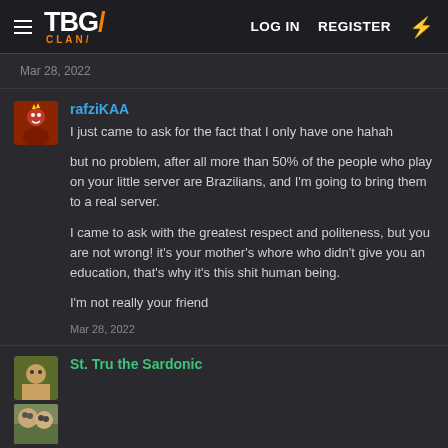TBG CLAN | LOG IN | REGISTER
Mar 28, 2022
rafziKAA
I just came to ask for the fact that I only have one hahah

but no problem, after all more than 50% of the people who play on your little server are Brazilians, and I'm going to bring them to a real server.

I came to ask with the greatest respect and politeness, but you are not wrong! it's your mother's whore who didn't give you an education, that's why it's this shit human being.

I'm not really your friend

Mar 28, 2022
St. Tru the Sardonic